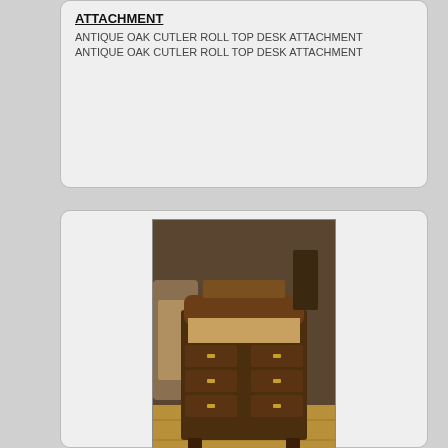ATTACHMENT
ANTIQUE OAK CUTLER ROLL TOP DESK ATTACHMENT
ANTIQUE OAK CUTLER ROLL TOP DESK ATTACHMENT
[Figure (photo): Photo of a 1930s oak roll top desk, dark wood, antique furniture in a room setting]
A 1930'S OAK ROLL TOP DESK A 1930'S
A 1930'S OAK ROLL TOP DESK A 1930'S OAK ROLL TOP DESK